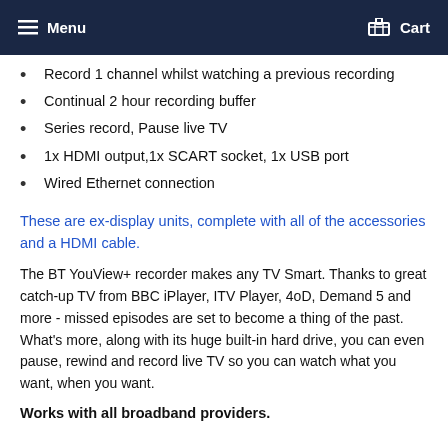Menu  Cart
Record 1 channel whilst watching a previous recording
Continual 2 hour recording buffer
Series record, Pause live TV
1x HDMI output,1x SCART socket, 1x USB port
Wired Ethernet connection
These are ex-display units, complete with all of the accessories and a HDMI cable.
The BT YouView+ recorder makes any TV Smart. Thanks to great catch-up TV from BBC iPlayer, ITV Player, 4oD, Demand 5 and more - missed episodes are set to become a thing of the past. What's more, along with its huge built-in hard drive, you can even pause, rewind and record live TV so you can watch what you want, when you want.
Works with all broadband providers.